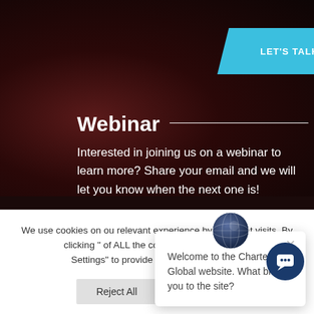LET'S TALK
Webinar
Interested in joining us on a webinar to learn more? Share your email and we will let you know when the next one is!
We use cookies on ou... relevant experience by re... repeat visits. By clicking "... of ALL the cookies. H... Settings" to provide a controlled consent.
Welcome to the Charter Global website. What brings you to the site?
Reject All
Accept